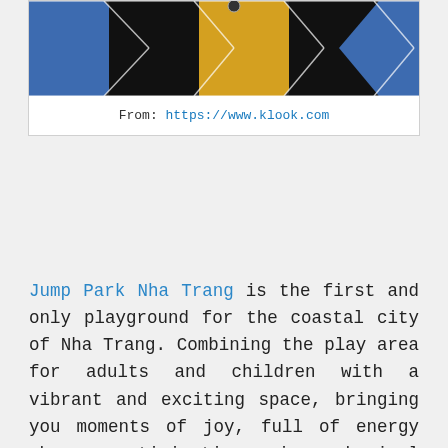[Figure (photo): Photo of trampoline park floor with blue, black, and yellow padded sections arranged in a checkerboard diamond pattern]
From: https://www.klook.com
Jump Park Nha Trang is the first and only playground for the coastal city of Nha Trang. Combining the play area for adults and children with a vibrant and exciting space, bringing you moments of joy, full of energy when participating in physical activities, where everyone playable. So when going to Jump Park, what will the kids experience? There is a ball game, acrobatics burn energy to fly freely on the trampoline. And the whole family has a chance to join a basketball game, giant